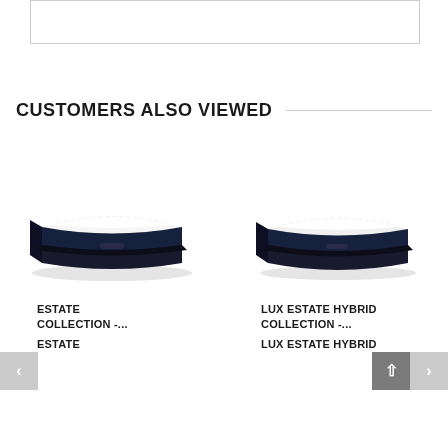[Figure (other): Top image placeholder box, white with gray border]
CUSTOMERS ALSO VIEWED
[Figure (photo): Mattress product photo - Estate Collection, dark navy/black base with white pillow-top, angled view]
ESTATE COLLECTION -...
ESTATE
[Figure (photo): Mattress product photo - Lux Estate Hybrid Collection, dark navy/black base with white pillow-top, angled view]
LUX ESTATE HYBRID COLLECTION -...
LUX ESTATE HYBRID